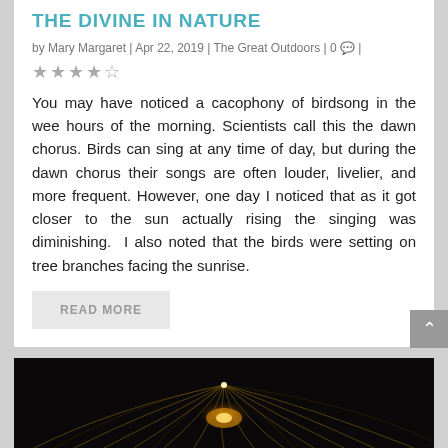THE DIVINE IN NATURE
by Mary Margaret | Apr 22, 2019 | The Great Outdoors | 0 |
★★★★☆
You may have noticed a cacophony of birdsong in the wee hours of the morning. Scientists call this the dawn chorus. Birds can sing at any time of day, but during the dawn chorus their songs are often louder, livelier, and more frequent. However, one day I noticed that as it got closer to the sun actually rising the singing was diminishing.  I also noted that the birds were setting on tree branches facing the sunrise.
READ MORE
[Figure (illustration): Dark fractal/geometric image with golden glowing orb and radiating curved lines on a black background]